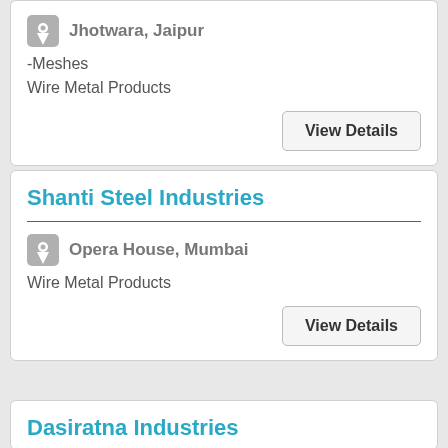Jhotwara, Jaipur
-Meshes
Wire Metal Products
View Details
Shanti Steel Industries
Opera House, Mumbai
Wire Metal Products
View Details
Dasiratna Industries